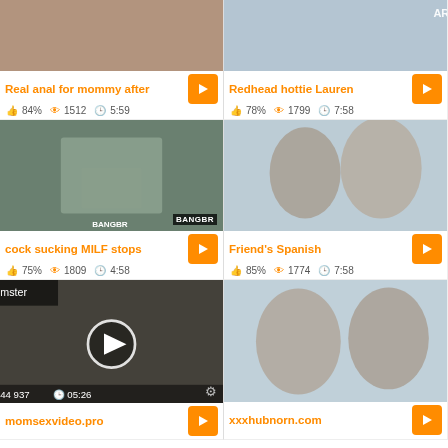[Figure (screenshot): Video thumbnail 1 - Real anal for mommy after]
Real anal for mommy after
84%  1512  5:59
[Figure (screenshot): Video thumbnail 2 - Redhead hottie Lauren]
Redhead hottie Lauren
78%  1799  7:58
[Figure (screenshot): Video thumbnail 3 - cock sucking MILF stops, BANGBR watermark]
cock sucking MILF stops
75%  1809  4:58
[Figure (screenshot): Video thumbnail 4 - Friend's Spanish]
Friend's Spanish
85%  1774  7:58
[Figure (screenshot): Video thumbnail 5 - momsexvideo.pro, 44 937 views, 05:26]
momsexvideo.pro
[Figure (screenshot): Video thumbnail 6 - xxxhubnorn.com]
xxxhubnorn.com